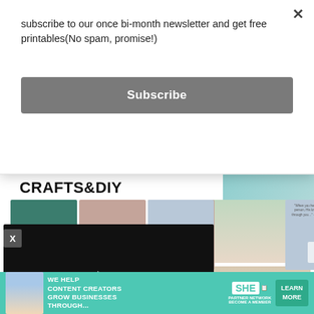subscribe to our once bi-month newsletter and get free printables(No spam, promise!)
[Figure (screenshot): Subscribe button - dark gray rounded rectangle with white bold text 'Subscribe']
[Figure (screenshot): CRAFTS&DIY banner text in bold black letters with a teal/blue image to the right]
[Figure (photo): Three printable quote cards on wood surface: teal, pink/peach, and light blue cards with white text quotes]
[Figure (screenshot): Black video player with play button, progress bar showing 13:52, and control icons (mute, CC, grid, settings, fullscreen)]
[Figure (screenshot): Advertisement banner: teal background with woman photo, text 'WE HELP CONTENT CREATORS GROW BUSINESSES THROUGH...', SHE PARTNER NETWORK BECOME A MEMBER logo, and LEARN MORE button]